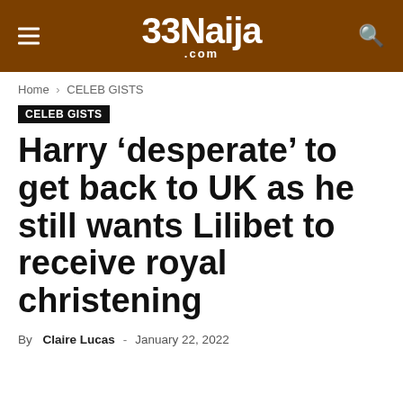33Naija.com
Home › CELEB GISTS
CELEB GISTS
Harry 'desperate' to get back to UK as he still wants Lilibet to receive royal christening
By Claire Lucas - January 22, 2022